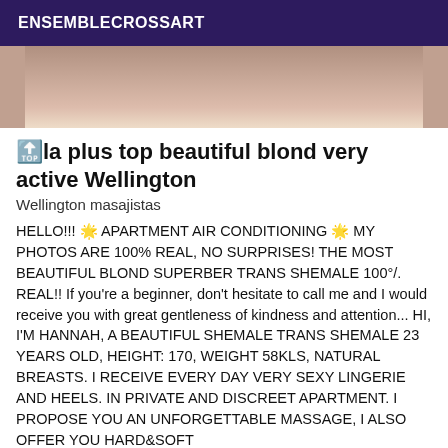ENSEMBLECROSSART
[Figure (photo): Partial photo of a person in white clothing, cropped, shown from below the face]
🔝la plus top beautiful blond very active Wellington
Wellington masajistas
HELLO!!! 🌟 APARTMENT AIR CONDITIONING 🌟 MY PHOTOS ARE 100% REAL, NO SURPRISES! THE MOST BEAUTIFUL BLOND SUPERBER TRANS SHEMALE 100°/. REAL!! If you're a beginner, don't hesitate to call me and I would receive you with great gentleness of kindness and attention... HI, I'M HANNAH, A BEAUTIFUL SHEMALE TRANS SHEMALE 23 YEARS OLD, HEIGHT: 170, WEIGHT 58KLS, NATURAL BREASTS. I RECEIVE EVERY DAY VERY SEXY LINGERIE AND HEELS. IN PRIVATE AND DISCREET APARTMENT. I PROPOSE YOU AN UNFORGETTABLE MASSAGE, I ALSO OFFER YOU HARD&SOFT